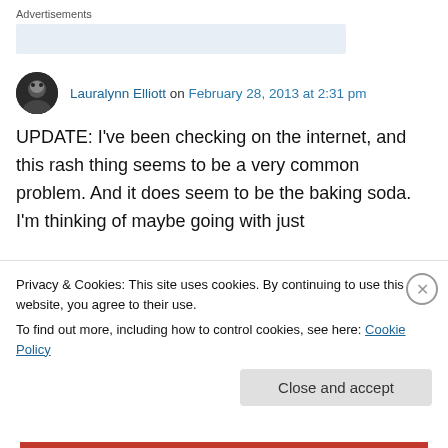Advertisements
Lauralynn Elliott on February 28, 2013 at 2:31 pm
UPDATE: I've been checking on the internet, and this rash thing seems to be a very common problem. And it does seem to be the baking soda. I'm thinking of maybe going with just
Privacy & Cookies: This site uses cookies. By continuing to use this website, you agree to their use.
To find out more, including how to control cookies, see here: Cookie Policy
Close and accept